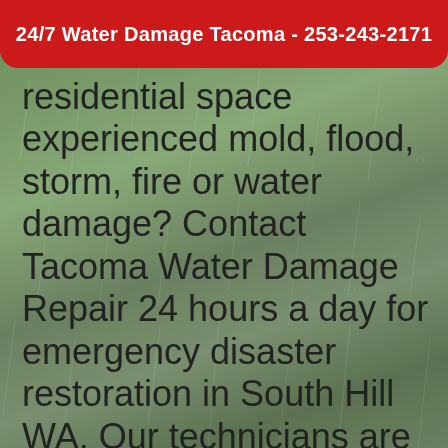24/7 Water Damage Tacoma - 253-243-2171
residential space experienced mold, flood, storm, fire or water damage? Contact Tacoma Water Damage Repair 24 hours a day for emergency disaster restoration in South Hill WA. Our technicians are always on call for mold remediation, flood cleanup, storm damage repair, fire damage restoration and water